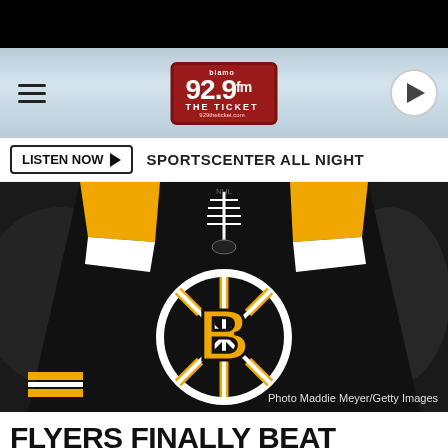[Figure (screenshot): Black top bar]
[Figure (logo): 92.9 FM The Ticket radio station logo on gradient blue/grey header bar with hamburger menu icon on left and play button on right]
LISTEN NOW ▶  SPORTSCENTER ALL NIGHT
[Figure (photo): Close-up photo of a Boston Bruins black NHL hockey jersey showing the Bruins 'B' logo (black circle with white and gold spoked wheel design and gold 'B' letter), with white laces at the collar and yellow shoulder panels. Photo credit: Maddie Meyer/Getty Images]
FLYERS FINALLY BEAT BRUINS, 3-2